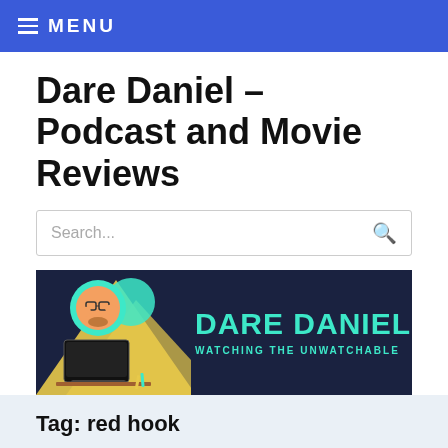MENU
Dare Daniel – Podcast and Movie Reviews
Search...
[Figure (illustration): Dare Daniel podcast banner: cartoon illustration of a person watching a screen with hands on face, dark navy background, teal text reading 'DARE DANIEL' and 'WATCHING THE UNWATCHABLE']
Tag: red hook
[Figure (photo): Partial photo of people in a record store or similar venue with vinyl records visible in the background]